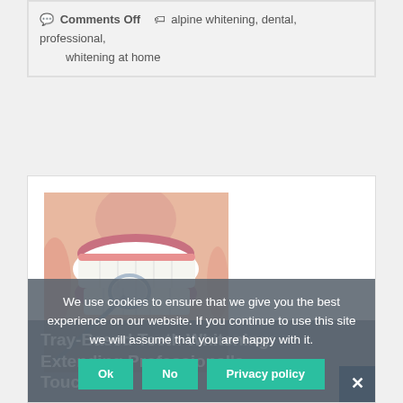Comments Off   alpine whitening, dental, professional, whitening at home
[Figure (photo): Close-up photo of a person's open mouth showing white teeth being examined with a dental mirror/tool]
Tray-Based Teeth Whitening: Extending Professional's Touch
We use cookies to ensure that we give you the best experience on our website. If you continue to use this site we will assume that you are happy with it.